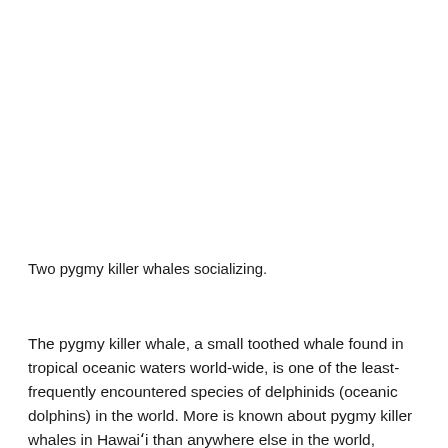Two pygmy killer whales socializing.
The pygmy killer whale, a small toothed whale found in tropical oceanic waters world-wide, is one of the least-frequently encountered species of delphinids (oceanic dolphins) in the world. More is known about pygmy killer whales in Hawaiʻi than anywhere else in the world, based